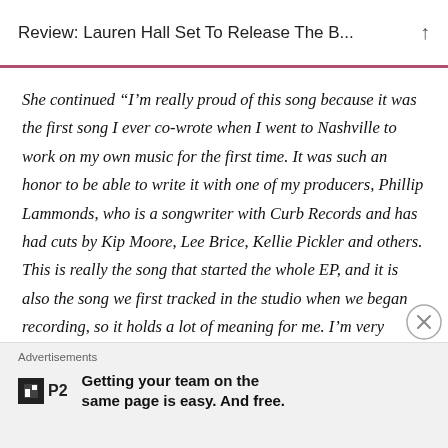Review: Lauren Hall Set To Release The B...
She continued “I’m really proud of this song because it was the first song I ever co-wrote when I went to Nashville to work on my own music for the first time. It was such an honor to be able to write it with one of my producers, Phillip Lammonds, who is a songwriter with Curb Records and has had cuts by Kip Moore, Lee Brice, Kellie Pickler and others. This is really the song that started the whole EP, and it is also the song we first tracked in the studio when we began recording, so it holds a lot of meaning for me. I’m very excited to finally be able to share it with everyone!”
Advertisements
Getting your team on the same page is easy. And free.